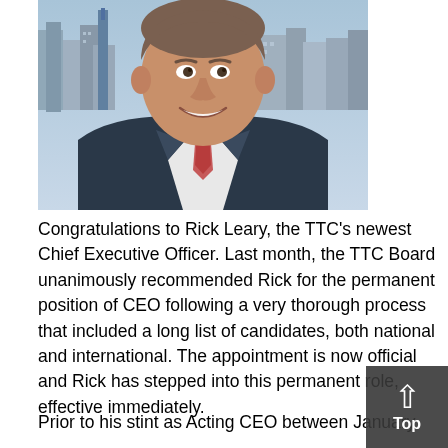[Figure (photo): Professional headshot of Rick Leary, a middle-aged man in a navy suit and patterned tie, smiling, with an urban skyline in the background.]
Congratulations to Rick Leary, the TTC's newest Chief Executive Officer. Last month, the TTC Board unanimously recommended Rick for the permanent position of CEO following a very thorough process that included a long list of candidates, both national and international. The appointment is now official and Rick has stepped into this permanent role, effective immediately.
Prior to his stint as Acting CEO between January